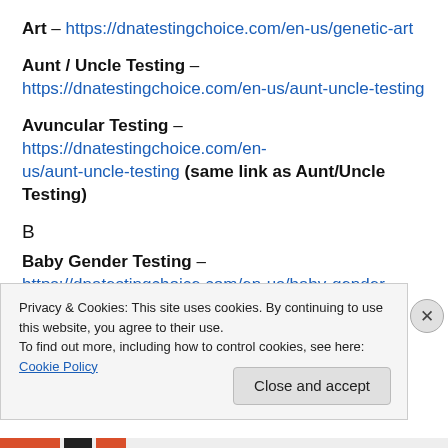Art – https://dnatestingchoice.com/en-us/genetic-art
Aunt / Uncle Testing – https://dnatestingchoice.com/en-us/aunt-uncle-testing
Avuncular Testing – https://dnatestingchoice.com/en-us/aunt-uncle-testing (same link as Aunt/Uncle Testing)
B
Baby Gender Testing – https://dnatestingchoice.com/en-us/baby-gender
Privacy & Cookies: This site uses cookies. By continuing to use this website, you agree to their use. To find out more, including how to control cookies, see here: Cookie Policy
Close and accept